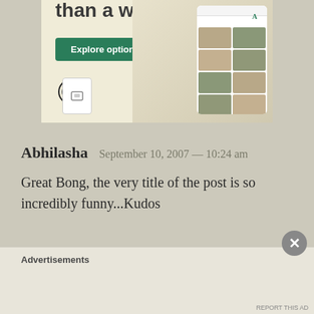[Figure (screenshot): WordPress.com advertisement banner showing 'than a week' heading, 'Explore options' green button, WordPress logo, and food website mockup on phone screens]
Abhilasha   September 10, 2007 — 10:24 am
Great Bong, the very title of the post is so incredibly funny...Kudos
Advertisements